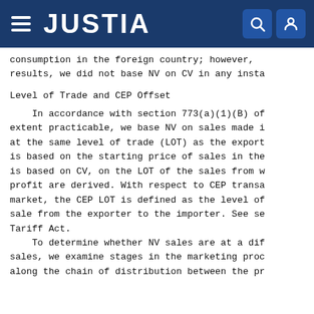JUSTIA
consumption in the foreign country; however, results, we did not base NV on CV in any insta
Level of Trade and CEP Offset
In accordance with section 773(a)(1)(B) of extent practicable, we base NV on sales made i at the same level of trade (LOT) as the export is based on the starting price of sales in the is based on CV, on the LOT of the sales from w profit are derived. With respect to CEP transa market, the CEP LOT is defined as the level of sale from the exporter to the importer. See se Tariff Act.
    To determine whether NV sales are at a dif sales, we examine stages in the marketing proc along the chain of distribution between the pr